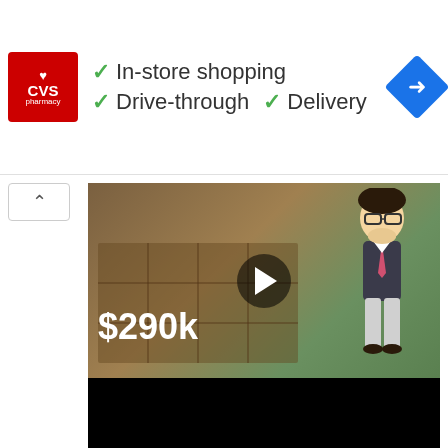[Figure (screenshot): CVS Pharmacy advertisement banner showing 'In-store shopping', 'Drive-through', and 'Delivery' checkmark options, with a blue navigation/direction icon on the right. Below the ad are small play and close controls.]
[Figure (screenshot): Video thumbnail showing a cartoon animated realtor figure standing in front of a house, with '$290k' price displayed and a play button overlay. The video has a black bar at the bottom.]
The best way to see if you like a realtor is to start to work with them. Ask the realtor what they think about the neighborhood